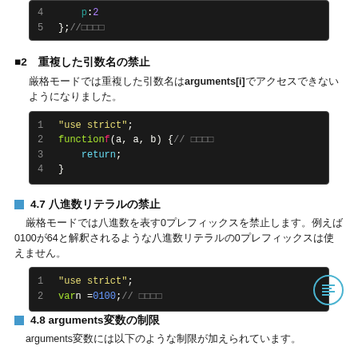[Figure (screenshot): Code block showing lines 4-5: p: 2 and }; // with Japanese comments on dark background]
■2　重複した引数名の禁止
厳格モードでは重複した引数名はarguments[i]でアクセスできないようになりました。
[Figure (screenshot): Code block showing: 1 "use strict"; 2 function f(a, a, b) { // エラー 3 return ; 4 }]
■ 4.7 八進数リテラルの禁止
厳格モードでは八進数を表す0プレフィックスを禁止します。例えば0100が64と解釈されるような八進数リテラルの0プレフィックスは使えません。
[Figure (screenshot): Code block showing: 1 "use strict"; 2 var n = 0100; // エラー]
■ 4.8 arguments変数の制限
arguments変数には以下のような制限が加えられています。